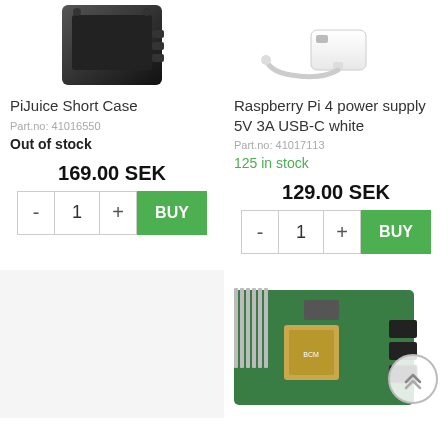[Figure (photo): PiJuice Short Case product photo - black enclosure (top portion visible)]
[Figure (photo): Raspberry Pi 4 power supply 5V 3A USB-C white product photo - white cable and adapter (top portion visible)]
PiJuice Short Case
Part.no: 41016550
Out of stock
Raspberry Pi 4 power supply 5V 3A USB-C white
Part.no: 41017113
125 in stock
169.00 SEK
129.00 SEK
[Figure (photo): Empty product placeholder (light gray background)]
[Figure (photo): Raspberry Pi 4 Model B board photo - green PCB with components]